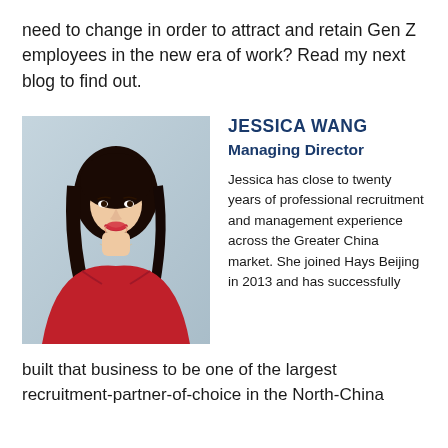need to change in order to attract and retain Gen Z employees in the new era of work? Read my next blog to find out.
[Figure (photo): Professional headshot of Jessica Wang, a woman with long dark hair wearing a red top, photographed against a light gray background.]
JESSICA WANG
Managing Director
Jessica has close to twenty years of professional recruitment and management experience across the Greater China market. She joined Hays Beijing in 2013 and has successfully built that business to be one of the largest recruitment-partner-of-choice in the North-China